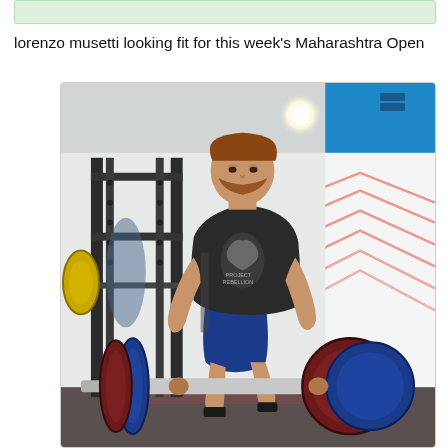[Figure (other): Top decorative green bar element]
lorenzo musetti looking fit for this week's Maharashtra Open
[Figure (photo): Lorenzo Musetti performing a deadlift in a gym. He is wearing a dark t-shirt with a bull graphic and blue shorts. There is a power rack in the background, a teal/blue stripe on the wall, and red mountain-pattern decorations on the right wall. A Eleiko barbell loaded with weight plates (marked 25) is visible at the bottom of the frame.]